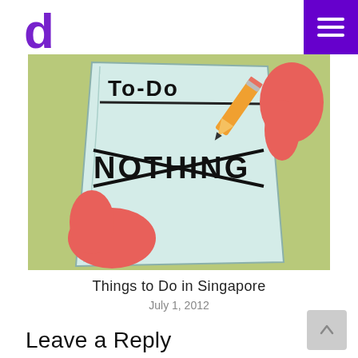d [logo] [menu button]
[Figure (illustration): Cartoon illustration of Patrick Star from SpongeBob holding a to-do list that reads 'To-Do NOTHING' with a pencil crossing out letters]
Things to Do in Singapore
July 1, 2012
Leave a Reply